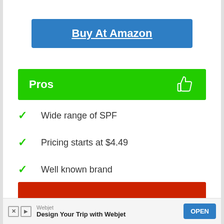[Figure (other): Blue button labeled 'Buy At Amazon' with underlined white bold text]
Pros
Wide range of SPF
Pricing starts at $4.49
Well known brand
[Figure (other): Partial red Cons header bar at bottom of page]
Webjet
Design Your Trip with Webjet